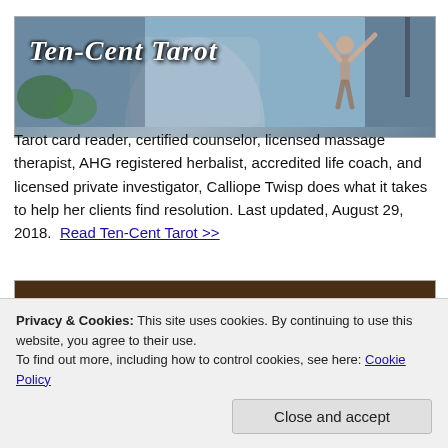[Figure (illustration): Ten-Cent Tarot banner image showing a stylized header with a person with arms raised against a sky background, with the text 'Ten-Cent Tarot' in decorative white font]
Tarot card reader, certified counselor, licensed massage therapist, AHG registered herbalist, accredited life coach, and licensed private investigator, Calliope Twisp does what it takes to help her clients find resolution. Last updated, August 29, 2018.  Read Ten-Cent Tarot >>
[Figure (illustration): Puppy Love banner image with bold white text 'Puppy Love' and subtitle 'a dogacy' on a dark brown background with illustrated dogs/puppies]
Puppy Love is legacy with a twist: The founder is a dog. Many
Privacy & Cookies: This site uses cookies. By continuing to use this website, you agree to their use.
To find out more, including how to control cookies, see here: Cookie Policy